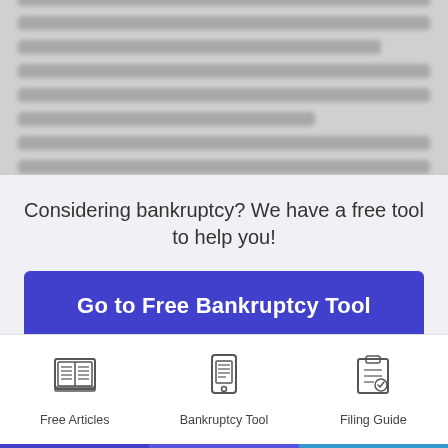[Figure (other): Blurred/redacted text passage about bankruptcy topics, shown as gray blurred lines]
Considering bankruptcy? We have a free tool to help you!
Go to Free Bankruptcy Tool
Keep Reading
[Figure (illustration): Icon of an open book representing Free Articles]
Free Articles
[Figure (illustration): Icon of a smartphone/tablet with text lines representing Bankruptcy Tool]
Bankruptcy Tool
[Figure (illustration): Icon of a clipboard with checklist representing Filing Guide]
Filing Guide